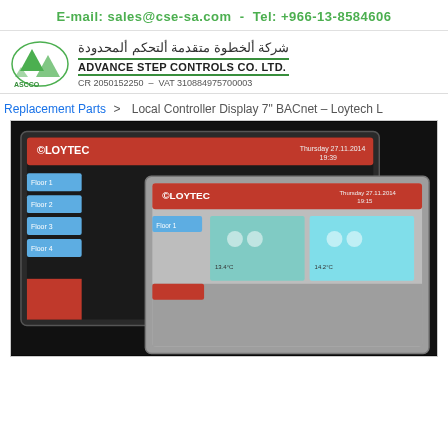E-mail: sales@cse-sa.com - Tel: +966-13-8584606
[Figure (logo): ASCCO - Advance Step Controls Co. Ltd. logo with Arabic company name and CR/VAT numbers]
Replacement Parts > Local Controller Display 7" BACnet – Loytech L
[Figure (photo): Product photo of LLOYTEC Local Controller Display 7 inch BACnet devices, showing two overlapping touchscreen display units with red LLOYTEC header bar and blue UI elements on grey bezels]